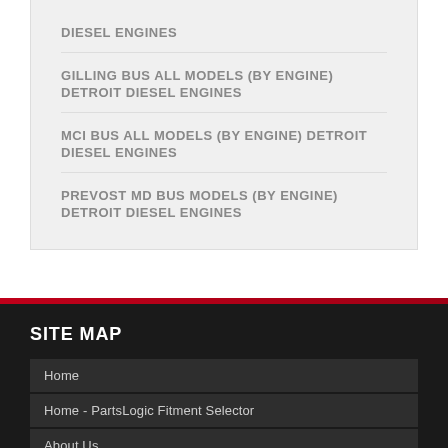DIESEL ENGINES
GILLING BUS ALL MODELS (BY ENGINE) DETROIT DIESEL ENGINES
MCI BUS ALL MODELS (BY ENGINE) DETROIT DIESEL ENGINES
PREVOST MD BUS MODELS (BY ENGINE) DETROIT DIESEL ENGINES
SITE MAP
Home
Home - PartsLogic Fitment Selector
About Us